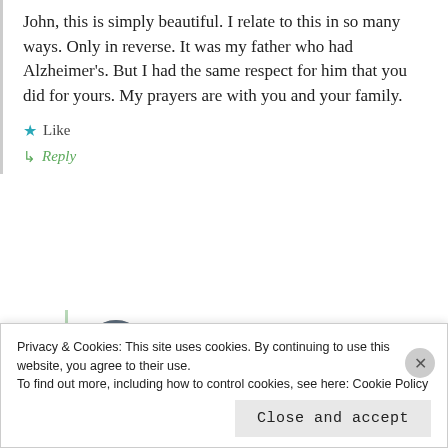John, this is simply beautiful. I relate to this in so many ways. Only in reverse. It was my father who had Alzheimer's. But I had the same respect for him that you did for yours. My prayers are with you and your family.
★ Like
↳ Reply
kyhuangs
September 15, 2021 at 10:19 am
Privacy & Cookies: This site uses cookies. By continuing to use this website, you agree to their use.
To find out more, including how to control cookies, see here: Cookie Policy
Close and accept